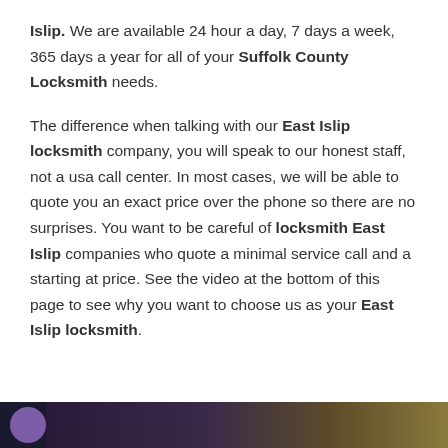Islip. We are available 24 hour a day, 7 days a week, 365 days a year for all of your Suffolk County Locksmith needs.
The difference when talking with our East Islip locksmith company, you will speak to our honest staff, not a usa call center. In most cases, we will be able to quote you an exact price over the phone so there are no surprises. You want to be careful of locksmith East Islip companies who quote a minimal service call and a starting at price. See the video at the bottom of this page to see why you want to choose us as your East Islip locksmith.
[Figure (screenshot): Dark video thumbnail strip at bottom of page]